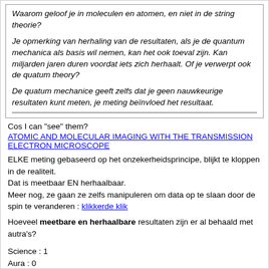Waarom geloof je in moleculen en atomen, en niet in de string theorie?
Je opmerking van herhaling van de resultaten, als je de quantum mechanica als basis wil nemen, kan het ook toeval zijn. Kan miljarden jaren duren voordat iets zich herhaalt. Of je verwerpt ook de quatum theory?
De quatum mechanice geeft zelfs dat je geen nauwkeurige resultaten kunt meten, je meting beïnvloed het resultaat.
Cos I can "see" them?
ATOMIC AND MOLECULAR IMAGING WITH THE TRANSMISSION ELECTRON MICROSCOPE
ELKE meting gebaseerd op het onzekerheidsprincipe, blijkt te kloppen in de realiteit.
Dat is meetbaar EN herhaalbaar.
Meer nog, ze gaan ze zelfs manipuleren om data op te slaan door de spin te veranderen : klikkerde klik
Hoeveel meetbare en herhaalbare resultaten zijn er al behaald met autra's?
Science : 1
Aura : 0
...